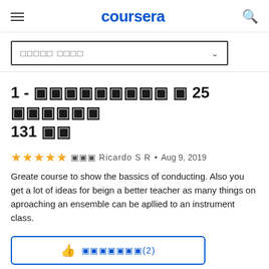coursera
□□□□□ □□□□
1 - □□□□□□□□□ □ 25 □□□□□□ 131 □□
□□□ Ricardo S R • Aug 9, 2019
Greate course to show the bassics of conducting. Also you get a lot of ideas for beign a better teacher as many things on aproaching an ensemble can be apllied to an instrument class.
□□□□□□□(2)